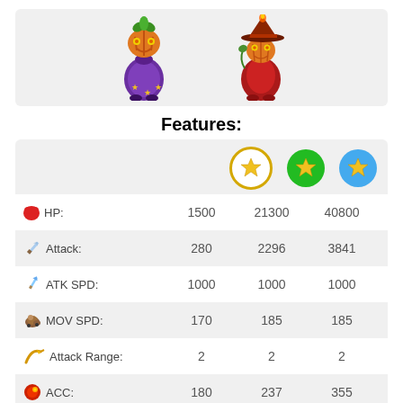[Figure (illustration): Two game character illustrations: left is a pumpkin-head character in purple costume, right is a pumpkin-head character in red witch hat and cape.]
Features:
|  | ★ (gold ring) | ★ (green) | ★ (blue) |
| --- | --- | --- | --- |
| ❤ HP: | 1500 | 21300 | 40800 |
| ⚔ Attack: | 280 | 2296 | 3841 |
| ⚡ ATK SPD: | 1000 | 1000 | 1000 |
| 👢 MOV SPD: | 170 | 185 | 185 |
| ↗ Attack Range: | 2 | 2 | 2 |
| 🎯 ACC: | 180 | 237 | 355 |